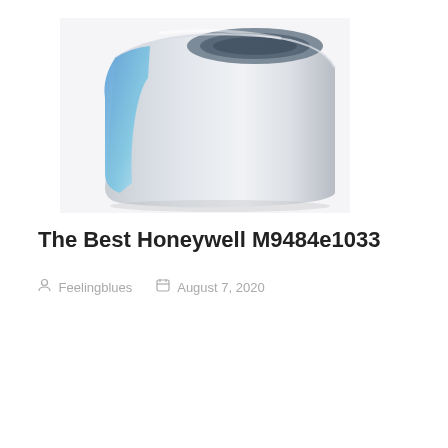[Figure (photo): Product photo of a Honeywell humidifier with white and blue curved body viewed from an angle, showing the top opening and side water tank.]
The Best Honeywell M9484e1033
Feelingblues   August 7, 2020